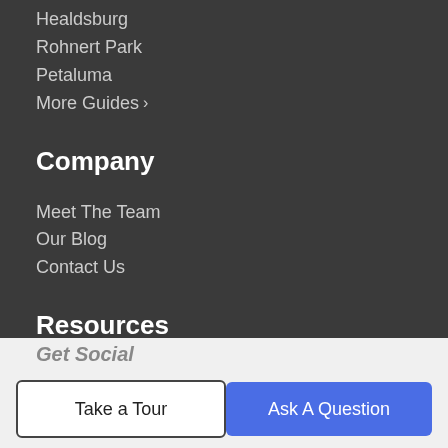Healdsburg
Rohnert Park
Petaluma
More Guides >
Company
Meet The Team
Our Blog
Contact Us
Resources
Buy a Home
Sell Your Home
Finance
Get Social
Take a Tour
Ask A Question